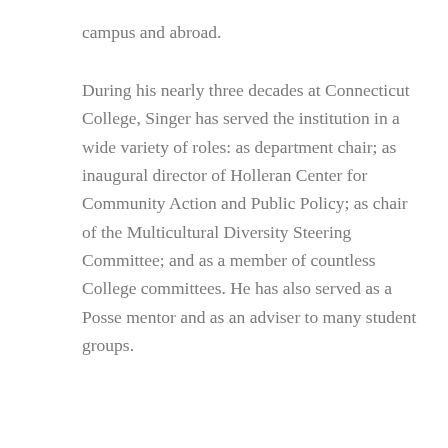campus and abroad. During his nearly three decades at Connecticut College, Singer has served the institution in a wide variety of roles: as department chair; as inaugural director of Holleran Center for Community Action and Public Policy; as chair of the Multicultural Diversity Steering Committee; and as a member of countless College committees. He has also served as a Posse mentor and as an adviser to many student groups.